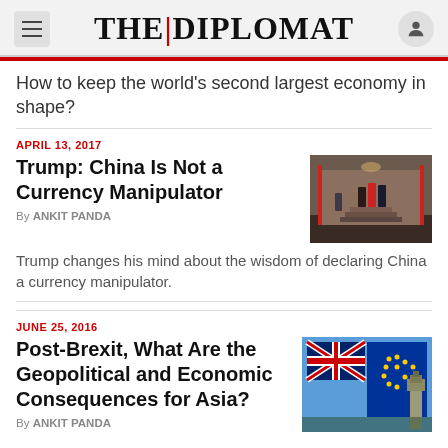THE|DIPLOMAT
How to keep the world's second largest economy in shape?
APRIL 13, 2017
Trump: China Is Not a Currency Manipulator
By ANKIT PANDA
[Figure (photo): Photo of Trump and officials on steps with flags]
Trump changes his mind about the wisdom of declaring China a currency manipulator.
JUNE 25, 2016
Post-Brexit, What Are the Geopolitical and Economic Consequences for Asia?
By ANKIT PANDA
[Figure (photo): Photo of UK and EU flags with Big Ben in background]